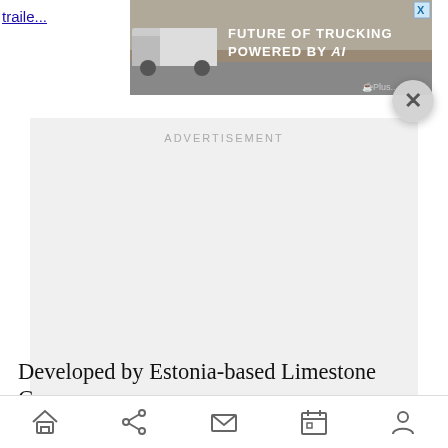traile...
[Figure (screenshot): Advertisement banner: truck driving in desert landscape, text 'FUTURE OF TRUCKING POWERED BY AI', GPlusAI branding, with blue X close button in top-right corner]
ADVERTISEMENT
[Figure (photo): Large advertisement placeholder area (light gray, mostly empty)]
Developed by Estonia-based Limestone Games, Aeon Must Die! is a new beat-'em-up game that
Home | Share | Mail | Calendar | Profile navigation icons